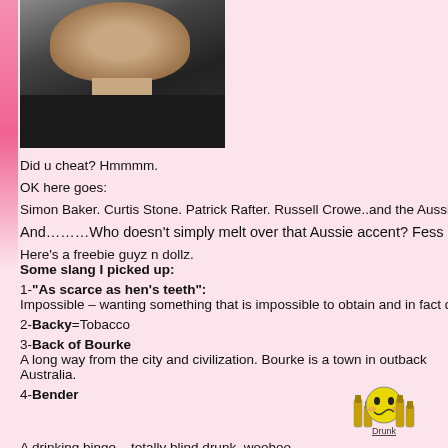[Figure (photo): Photo of a man in a black shirt with a necklace, cropped to show head and upper chest]
Did u cheat? Hmmmm.
OK here goes:
Simon Baker. Curtis Stone. Patrick Rafter. Russell Crowe..and the Aussie swim te
And………Who doesn't simply melt over that Aussie accent? Fess up
Here's a freebie guyz n dollz.
Some slang I picked up:
1-"As scarce as hen's teeth": Impossible – wanting something that is impossible to obtain and in fact doesn't ev
2-Backy=Tobacco
3-Back of Bourke
A long way from the city and civilization. Bourke is a town in outback Australia.
4-Bender
[Figure (illustration): Pixel-art emoji of a drunk smiley face with beer bottles, labeled 'Drunk']
A drinking binge – totally blind drunk. woohoo.
5-Buckley's chance